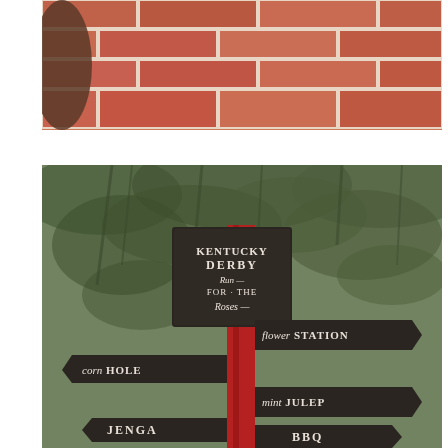[Figure (photo): Top photo showing red brick floor/patio with partial view of a round wooden table leg at left edge.]
[Figure (photo): Outdoor event directional signpost with dark chalkboard-style arrow signs on a red post, set against a Spanish moss draped tree. Signs read: KENTUCKY DERBY Run FOR THE Roses (center square sign), flower STATION (right arrow), corn HOLE (left arrow), mint JULEP (right arrow), JENGA (left arrow), BBQ (right arrow). A red heart icon overlays the upper right corner.]